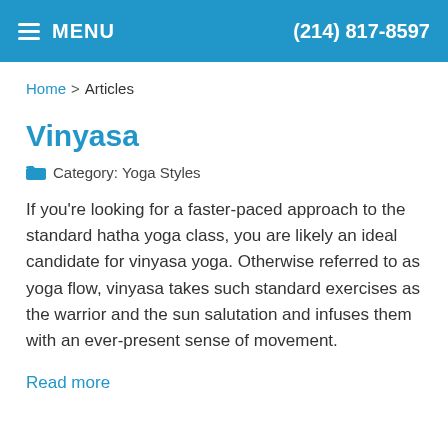MENU   (214) 817-8597
Home > Articles
Vinyasa
Category: Yoga Styles
If you're looking for a faster-paced approach to the standard hatha yoga class, you are likely an ideal candidate for vinyasa yoga. Otherwise referred to as yoga flow, vinyasa takes such standard exercises as the warrior and the sun salutation and infuses them with an ever-present sense of movement.
Read more